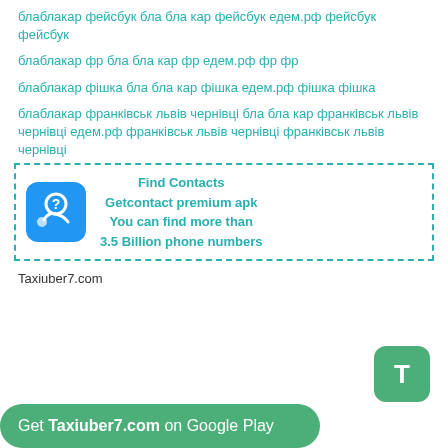блаблакар фейсбук бла бла кар фейсбук едем.рф фейсбук фейсбук
блаблакар фр бла бла кар фр едем.рф фр фр
блаблакар фішка бла бла кар фішка едем.рф фішка фішка
блаблакар франківськ львів чернівці бла бла кар франківськ львів чернівці едем.рф франківськ львів чернівці франківськ львів чернівці
[Figure (infographic): Advertisement box with dashed teal border. Left side has a phone/contact app icon (blue rounded square with phone and question mark). Right side has bold teal text: Find Contacts / Getcontact premium apk / You can find more than / 3.5 Billion phone numbers]
Taxiuber7.com
[Figure (other): Green rounded square button with white letter T]
Get Taxiuber7.com on Google Play